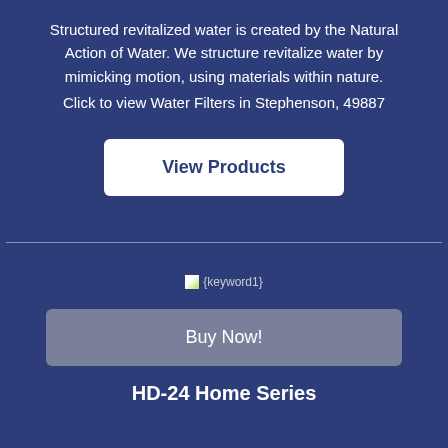Structured revitalized water is created by the Natural Action of Water. We structure revitalize water by mimicking motion, using materials within nature.
Click to view Water Filters in Stephenson, 49887
[Figure (other): White rounded rectangle button labeled 'View Products' on blue background]
[Figure (other): Broken image placeholder showing '{keyword1}' text with small image icon]
[Figure (other): Gray rounded rectangle button labeled 'Buy Now!' on blue background]
HD-24 Home Series